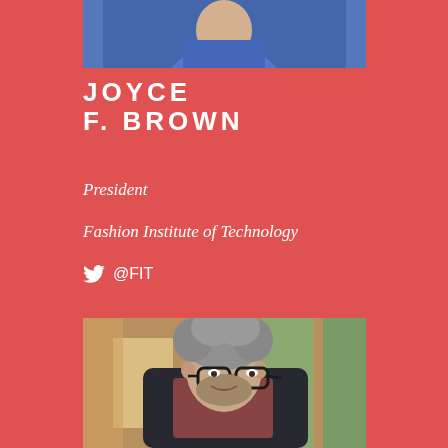[Figure (photo): Partial photo of a person in blue clothing at the top of the card, cropped to show shoulders and lower face]
JOYCE F. BROWN
President
Fashion Institute of Technology
@FIT
[Figure (photo): Photo of a middle-aged man with curly grey hair, dark-rimmed glasses, a beard, wearing a black jacket and red plaid shirt, smiling, photographed indoors near windows with greenery visible outside]